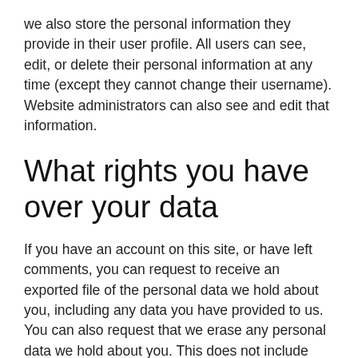we also store the personal information they provide in their user profile. All users can see, edit, or delete their personal information at any time (except they cannot change their username). Website administrators can also see and edit that information.
What rights you have over your data
If you have an account on this site, or have left comments, you can request to receive an exported file of the personal data we hold about you, including any data you have provided to us. You can also request that we erase any personal data we hold about you. This does not include any data we are obliged to keep for administrative, legal, or security purposes.